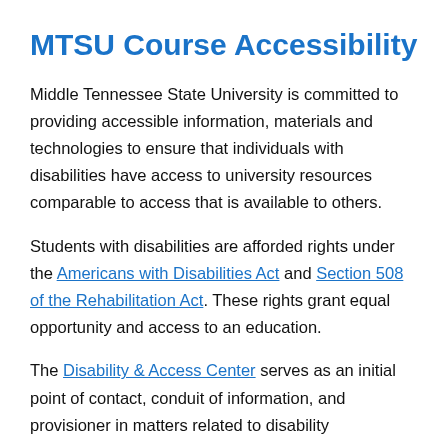MTSU Course Accessibility
Middle Tennessee State University is committed to providing accessible information, materials and technologies to ensure that individuals with disabilities have access to university resources comparable to access that is available to others.
Students with disabilities are afforded rights under the Americans with Disabilities Act and Section 508 of the Rehabilitation Act. These rights grant equal opportunity and access to an education.
The Disability & Access Center serves as an initial point of contact, conduit of information, and provisioner in matters related to disability